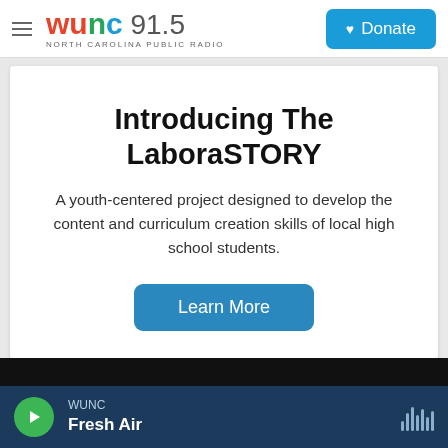[Figure (logo): WUNC 91.5 North Carolina Public Radio logo with colorful letters and Donate button]
Introducing The LaboraSTORY
A youth-centered project designed to develop the content and curriculum creation skills of local high school students.
Learn More
WUNC Fresh Air